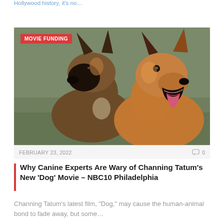Hollywood history, it's no...
[Figure (photo): Two Belgian Malinois dogs photographed in profile against a blurred outdoor background. The dog on the left faces left showing a dark muzzle and tan/black coat, while the dog on the right faces slightly right with its mouth open and tongue out.]
MOVIE FUNDING
FEBRUARY 23, 2022
0
Why Canine Experts Are Wary of Channing Tatum’s New ‘Dog’ Movie – NBC10 Philadelphia
Channing Tatum’s latest film, “Dog,” may cause the human-animal bond to fade away, but some…